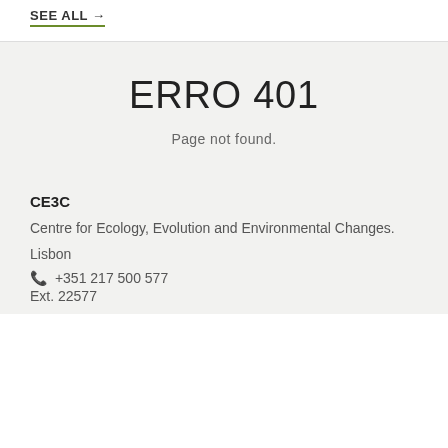SEE ALL →
ERRO 401
Page not found.
CE3C
Centre for Ecology, Evolution and Environmental Changes.
Lisbon
📞 +351 217 500 577
Ext. 22577